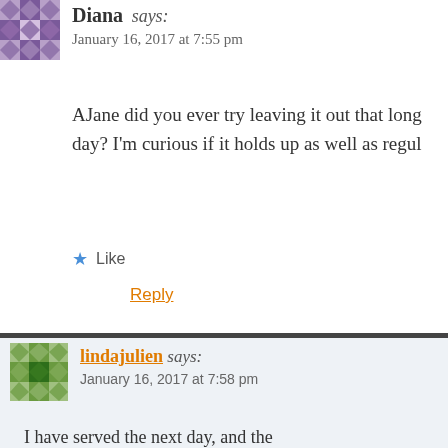[Figure (illustration): Purple/violet geometric patterned avatar for Diana]
Diana says: January 16, 2017 at 7:55 pm
AJane did you ever try leaving it out that long — all day? I'm curious if it holds up as well as regu...
★ Like
Reply
[Figure (illustration): Green geometric patterned avatar for lindajulien]
lindajulien says: January 16, 2017 at 7:58 pm
I have served the next day, and the counter sometimes for a week. The anything goes wrong with the butt...
If you add fruit puree or something it's fine.